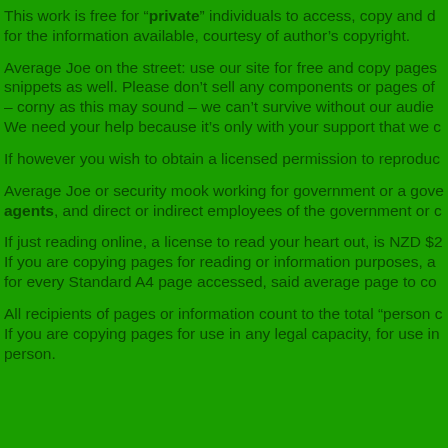This work is free for “private” individuals to access, copy and d… for the information available, courtesy of author’s copyright.
Average Joe on the street: use our site for free and copy pages snippets as well. Please don’t sell any components or pages of – corny as this may sound – we can’t survive without our audie… We need your help because it’s only with your support that we c…
If however you wish to obtain a licensed permission to reproduc…
Average Joe or security mook working for government or a gove… agents, and direct or indirect employees of the government or c…
If just reading online, a license to read your heart out, is NZD $2… If you are copying pages for reading or information purposes, a… for every Standard A4 page accessed, said average page to co…
All recipients of pages or information count to the total “person c… If you are copying pages for use in any legal capacity, for use in… person.